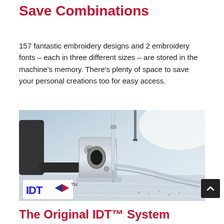Save Combinations
157 fantastic embroidery designs and 2 embroidery fonts – each in three different sizes – are stored in the machine's memory. There's plenty of space to save your personal creations too for easy access.
[Figure (photo): Close-up photo of a sewing machine needle and presser foot mechanism on shiny fabric, with IDT™ logo overlay in bottom-left corner]
The Original IDT™ System